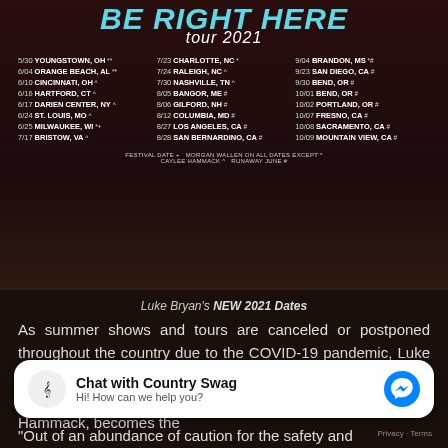[Figure (infographic): Luke Bryan Proud To Be Right Here Tour 2021 poster with tour dates in three columns on dark reddish-brown background]
Luke Bryan's NEW 2021 Dates
As summer shows and tours are canceled or postponed throughout the country due to the COVID-19 pandemic, Luke Bryan's 2020 Proud To Be Right Here Tour with special guests Morgan Wallen, Runaway June and Caylee Hammack, becomes the
[Figure (screenshot): Chat with Country Swag Facebook Messenger widget. Hi! How can we help you?]
"Out of an abundance of caution for the safety and